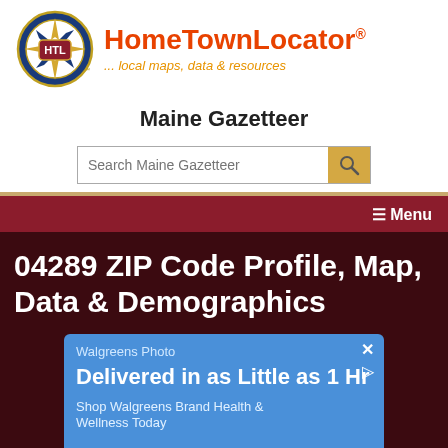[Figure (logo): HomeTownLocator logo with compass rose circle and HTL text, with brand name and tagline]
Maine Gazetteer
[Figure (other): Search bar with text 'Search Maine Gazetteer' and magnifying glass search button]
≡ Menu
04289 ZIP Code Profile, Map, Data & Demographics
[Figure (other): Advertisement: Walgreens Photo - Delivered in as Little as 1 Hr - Shop Walgreens Brand Health & Wellness Today, with close and play buttons]
[Figure (map): Partial map view at the bottom of the page]